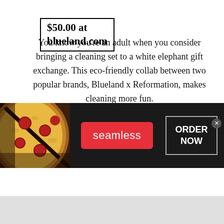$50.00 at blueland.com
You know you're an adult when you consider bringing a cleaning set to a white elephant gift exchange. This eco-friendly collab between two popular brands, Blueland x Reformation, makes cleaning more fun.
[Figure (screenshot): Advertisement banner for Seamless food delivery service. Shows pizza image on left, red 'seamless' button in center, and 'ORDER NOW' button in white border on dark background. Has a close (x) button in top right corner.]